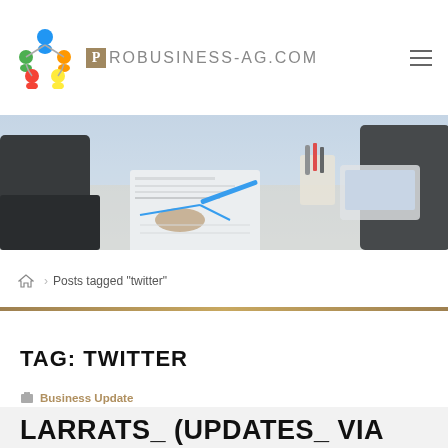PROBUSINESS-AG.COM
[Figure (photo): Business meeting scene: people around a table with documents, laptops, and office supplies. Overhead/bird's eye partial view, blue-toned.]
Posts tagged "twitter"
TAG: TWITTER
Business Update
LARRATS_(UPDATES_ VIA